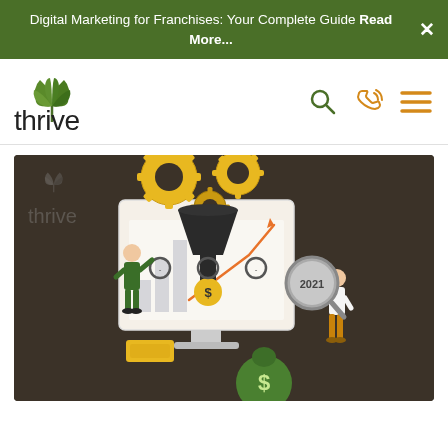Digital Marketing for Franchises: Your Complete Guide Read More...
[Figure (logo): Thrive agency logo with green leaf icon and dark text]
[Figure (illustration): Digital marketing illustration showing gears, a funnel, monitor with growth chart, gold bar, money bag, and a person holding a magnifying glass with '2021', on a dark brown background with Thrive watermark logo]